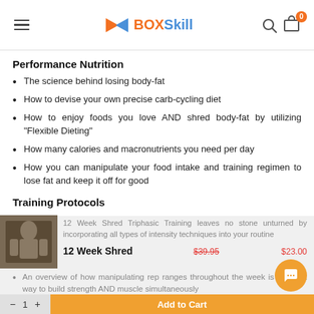BOXSkill
Performance Nutrition
The science behind losing body-fat
How to devise your own precise carb-cycling diet
How to enjoy foods you love AND shred body-fat by utilizing "Flexible Dieting"
How many calories and macronutrients you need per day
How you can manipulate your food intake and training regimen to lose fat and keep it off for good
Training Protocols
12 Week Shred Triphasic Training leaves no stone unturned by incorporating all types of intensity techniques into your routine
12 Week Shred   $39.95 $23.00
An overview of how manipulating rep ranges throughout the week is the best way to build strength AND muscle simultaneously